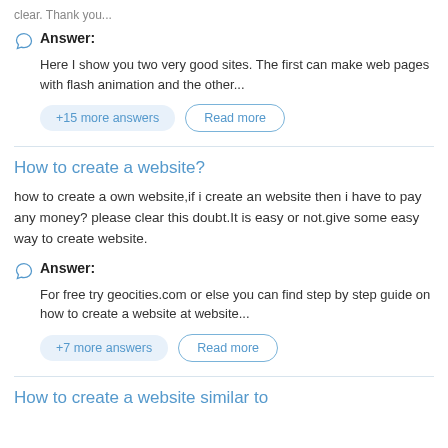clear. Thank you...
Answer:
Here I show you two very good sites. The first can make web pages with flash animation and the other...
+15 more answers
Read more
How to create a website?
how to create a own website,if i create an website then i have to pay any money? please clear this doubt.It is easy or not.give some easy way to create website.
Answer:
For free try geocities.com or else you can find step by step guide on how to create a website at website...
+7 more answers
Read more
How to create a website similar to